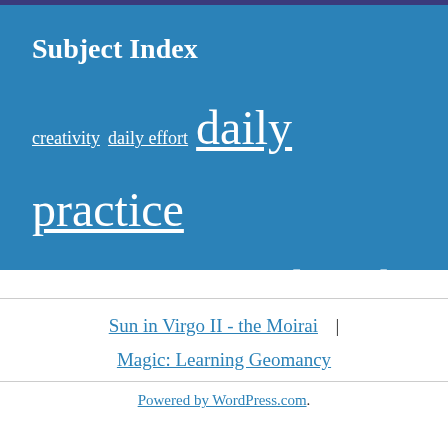Subject Index
creativity daily effort daily practice design learning personal work poetry qi gong tai chi Teaching
Sun in Virgo II - the Moirai  |  Magic: Learning Geomancy
Powered by WordPress.com.